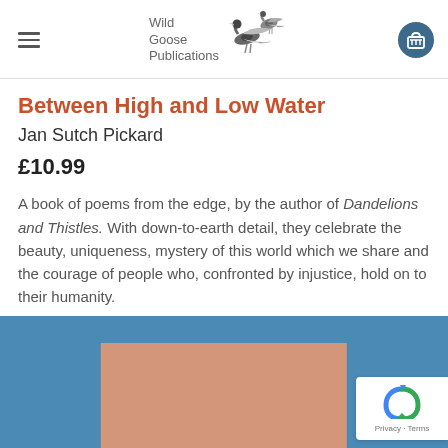Wild Goose Publications
Between High and Low Water
Jan Sutch Pickard
£10.99
A book of poems from the edge, by the author of Dandelions and Thistles. With down-to-earth detail, they celebrate the beauty, uniqueness, mystery of this world which we share and the courage of people who, confronted by injustice, hold on to their humanity.
[Figure (photo): Book cover image area with blue background and salmon/terracotta colored book cover visible at bottom]